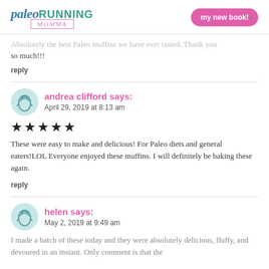paleo RUNNING MOMMA | my new book!
Absolutely the best Paleo muffins we have ever tasted. Thank you so much!!!
reply
andrea clifford says:
April 29, 2019 at 8:13 am
★★★★★
These were easy to make and delicious! For Paleo diets and general eaters!LOL Everyone enjoyed these muffins. I will definitely be baking these again.
reply
helen says:
May 2, 2019 at 9:49 am
I made a batch of these today and they were absolutely delicious, fluffy, and devoured in an instant. Only comment is that the